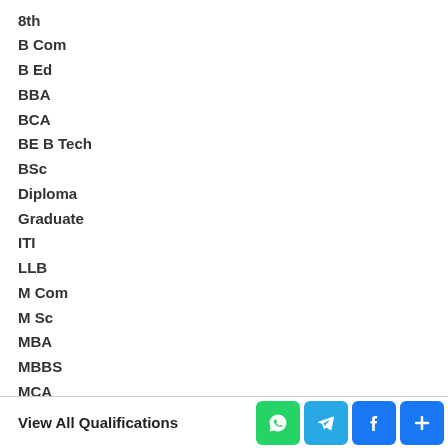8th
B Com
B Ed
BBA
BCA
BE B Tech
BSc
Diploma
Graduate
ITI
LLB
M Com
M Sc
MBA
MBBS
MCA
ME / M Tech
Post Graduate
View All Qualifications